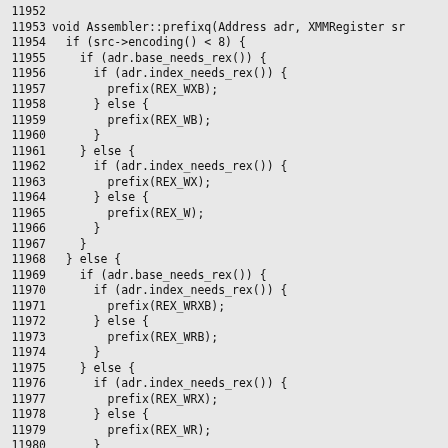Source code listing lines 11952-11981, showing Assembler::prefixq function implementation with conditional REX prefix selection logic based on address encoding and register encoding values.